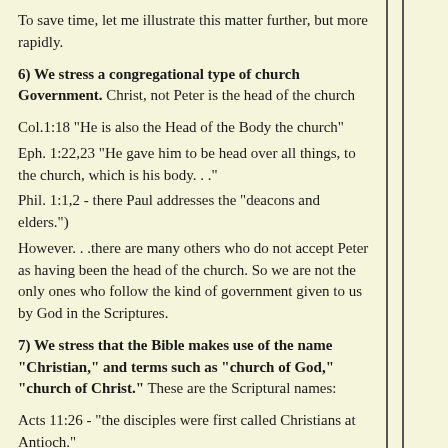To save time, let me illustrate this matter further, but more rapidly.
6) We stress a congregational type of church Government. Christ, not Peter is the head of the church
Col.1:18 "He is also the Head of the Body the church"
Eph. 1:22,23 "He gave him to be head over all things, to the church, which is his body. . ."
Phil. 1:1,2 - there Paul addresses the "deacons and elders.")
However. . .there are many others who do not accept Peter as having been the head of the church. So we are not the only ones who follow the kind of government given to us by God in the Scriptures.
7) We stress that the Bible makes use of the name "Christian," and terms such as "church of God," "church of Christ." These are the Scriptural names:
Acts 11:26 - "the disciples were first called Christians at Antioch."